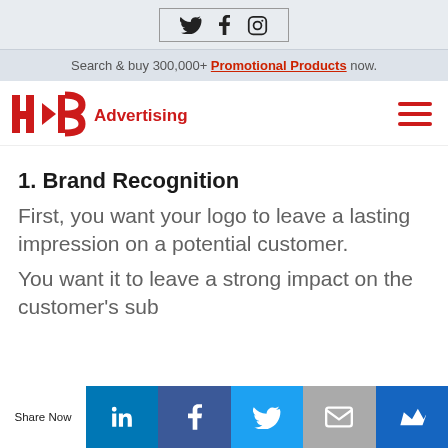Twitter, Facebook, Instagram social icons
Search & buy 300,000+ Promotional Products now.
[Figure (logo): HFB Advertising logo with red H, arrow-B, and 'Advertising' text in red, plus hamburger menu icon]
1. Brand Recognition
First, you want your logo to leave a lasting impression on a potential customer.
You want it to leave a strong impact on the customer's subconscious so that if they think of a
Share Now | LinkedIn | Facebook | Twitter | Email | Crown